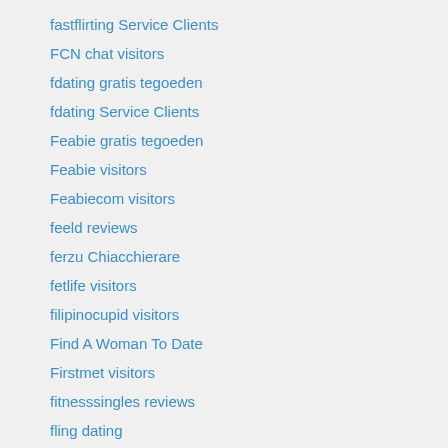fastflirting Service Clients
FCN chat visitors
fdating gratis tegoeden
fdating Service Clients
Feabie gratis tegoeden
Feabie visitors
Feabiecom visitors
feeld reviews
ferzu Chiacchierare
fetlife visitors
filipinocupid visitors
Find A Woman To Date
Firstmet visitors
fitnesssingles reviews
fling dating